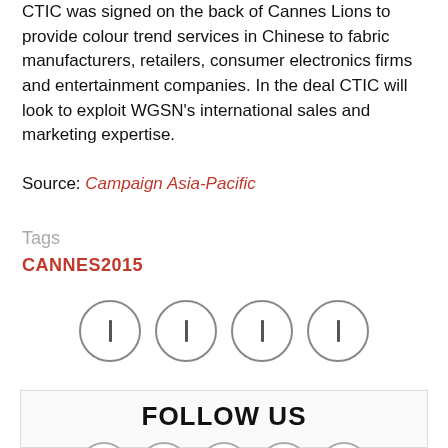CTIC was signed on the back of Cannes Lions to provide colour trend services in Chinese to fabric manufacturers, retailers, consumer electronics firms and entertainment companies. In the deal CTIC will look to exploit WGSN's international sales and marketing expertise.
Source: Campaign Asia-Pacific
Tags
CANNES2015
[Figure (infographic): Four circular social media share/action icon buttons in a row]
FOLLOW US
[Figure (infographic): Five partially visible circular social media follow icon buttons in a row inside a bordered box]